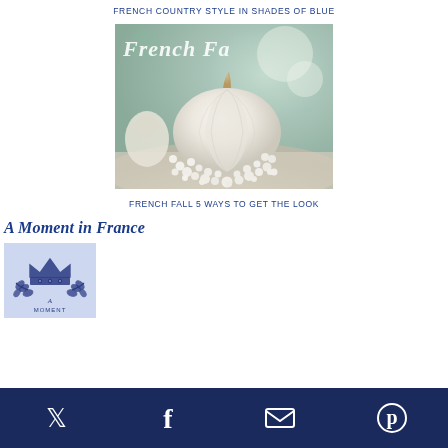FRENCH COUNTRY STYLE IN SHADES OF BLUE
[Figure (photo): Photo of a white pumpkin surrounded by baby's breath flowers, with text 'French Fa...' overlaid at top left]
FRENCH FALL 5 WAYS TO GET THE LOOK
A Moment in France
[Figure (logo): Blue crown and laurel branch logo on light blue background for 'A Moment in France']
Social media icons: Twitter, Facebook, Email, Pinterest